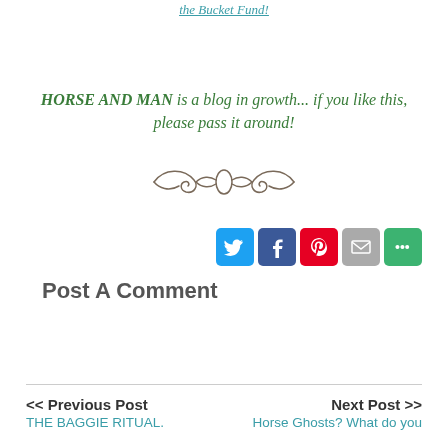the Bucket Fund!
HORSE AND MAN is a blog in growth... if you like this, please pass it around!
[Figure (illustration): Decorative ornamental swirl divider]
[Figure (infographic): Social share buttons: Twitter, Facebook, Pinterest, Email, More Options]
Post A Comment
<< Previous Post
THE BAGGIE RITUAL.
Next Post >>
Horse Ghosts? What do you